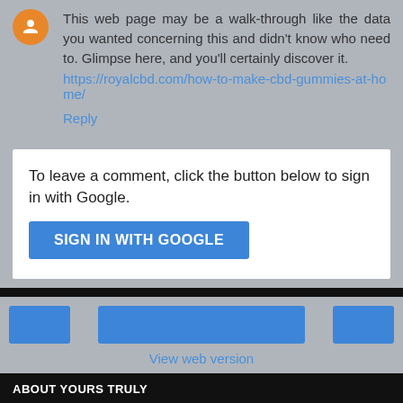This web page may be a walk-through like the data you wanted concerning this and didn't know who need to. Glimpse here, and you'll certainly discover it. https://royalcbd.com/how-to-make-cbd-gummies-at-home/
Reply
To leave a comment, click the button below to sign in with Google.
SIGN IN WITH GOOGLE
[Figure (infographic): Navigation bar with three blue buttons and View web version link]
View web version
ABOUT YOURS TRULY
Dave DeBaeremaeker
Maker, Creator, Blessed Lunatic.
View my complete profile